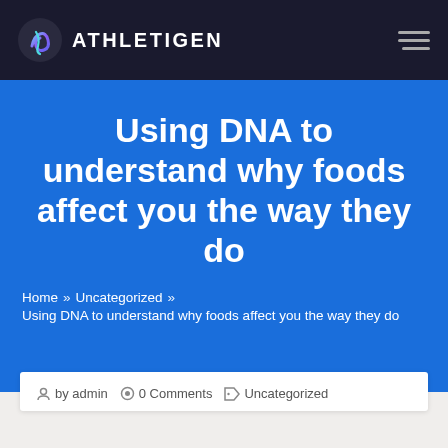ATHLETIGEN
Using DNA to understand why foods affect you the way they do
Home » Uncategorized » Using DNA to understand why foods affect you the way they do
by admin   0 Comments   Uncategorized